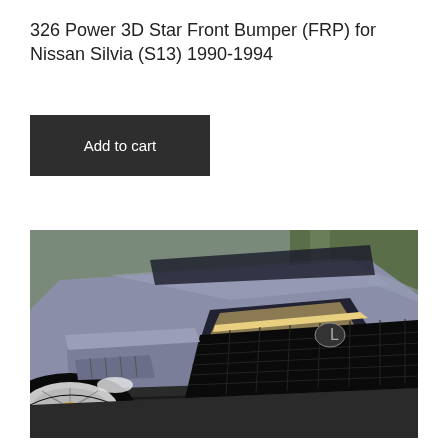326 Power 3D Star Front Bumper (FRP) for Nissan Silvia (S13) 1990-1994
Add to cart
[Figure (photo): Close-up front view of a lowered grey/blue car (styled to resemble a Lexus RC F-Sport) with a custom front bumper and lip spoiler, large chrome multi-spoke wheels, black mesh grille, shot outdoors on pavement with green foliage in the background.]